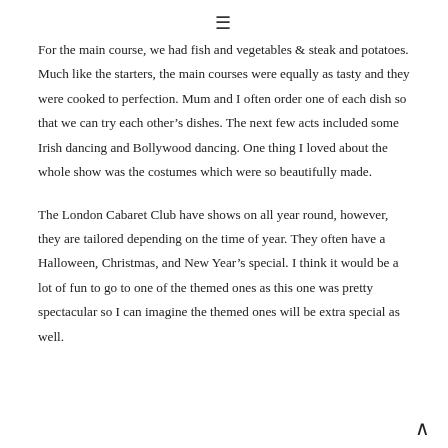≡
For the main course, we had fish and vegetables & steak and potatoes. Much like the starters, the main courses were equally as tasty and they were cooked to perfection. Mum and I often order one of each dish so that we can try each other's dishes. The next few acts included some Irish dancing and Bollywood dancing. One thing I loved about the whole show was the costumes which were so beautifully made.
The London Cabaret Club have shows on all year round, however, they are tailored depending on the time of year. They often have a Halloween, Christmas, and New Year's special. I think it would be a lot of fun to go to one of the themed ones as this one was pretty spectacular so I can imagine the themed ones will be extra special as well.